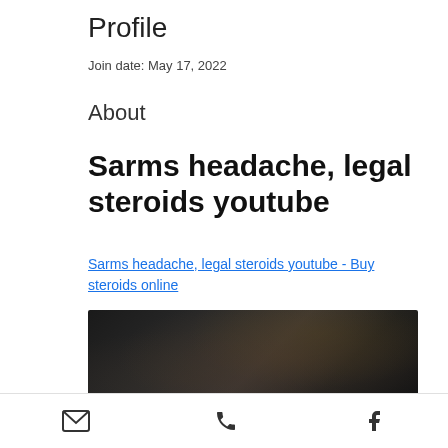Profile
Join date: May 17, 2022
About
Sarms headache, legal steroids youtube
Sarms headache, legal steroids youtube - Buy steroids online
[Figure (photo): Blurred dark image, likely a product or scene photo]
Email | Phone | Facebook icons